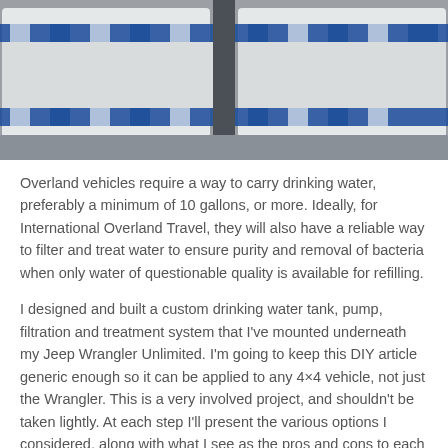[Figure (photo): Photo of white water tanks with blue strapping/ratchet straps on a warehouse pallet floor, viewed from slightly above]
Overland vehicles require a way to carry drinking water, preferably a minimum of 10 gallons, or more. Ideally, for International Overland Travel, they will also have a reliable way to filter and treat water to ensure purity and removal of bacteria when only water of questionable quality is available for refilling.
I designed and built a custom drinking water tank, pump, filtration and treatment system that I've mounted underneath my Jeep Wrangler Unlimited. I'm going to keep this DIY article generic enough so it can be applied to any 4×4 vehicle, not just the Wrangler. This is a very involved project, and shouldn't be taken lightly. At each step I'll present the various options I considered, along with what I see as the pros and cons to each so you can design your own system to meet your needs. This article is mostly